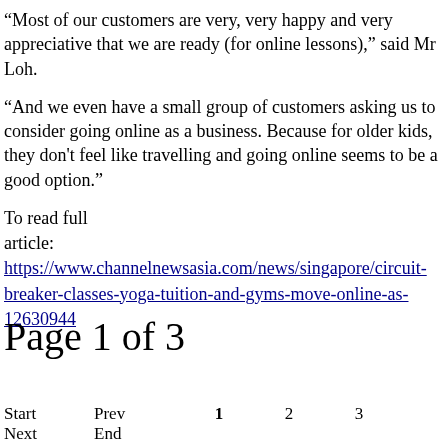“Most of our customers are very, very happy and very appreciative that we are ready (for online lessons),” said Mr Loh.
“And we even have a small group of customers asking us to consider going online as a business. Because for older kids, they don't feel like travelling and going online seems to be a good option.”
To read full article: https://www.channelnewsasia.com/news/singapore/circuit-breaker-classes-yoga-tuition-and-gyms-move-online-as-12630944
Page 1 of 3
Start
Next
Prev
End
1
2
3